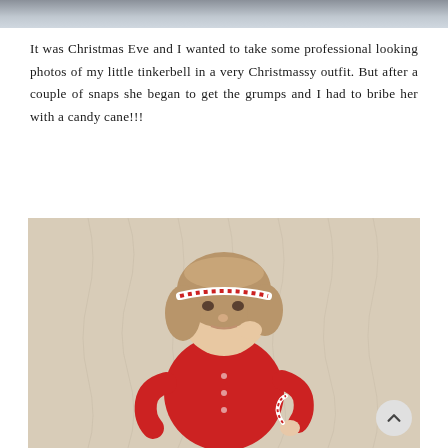[Figure (photo): Partial photo visible at top of page, cropped — shows top edge of an image with muted gray-blue tones.]
It was Christmas Eve and I wanted to take some professional looking photos of my little tinkerbell in a very Christmassy outfit. But after a couple of snaps she began to get the grumps and I had to bribe her with a candy cane!!!
[Figure (photo): A young toddler girl with a bob haircut and a red and white headband, wearing a red cardigan, holding a candy cane up to her mouth. She is standing against a cream/beige textured wallpaper background.]